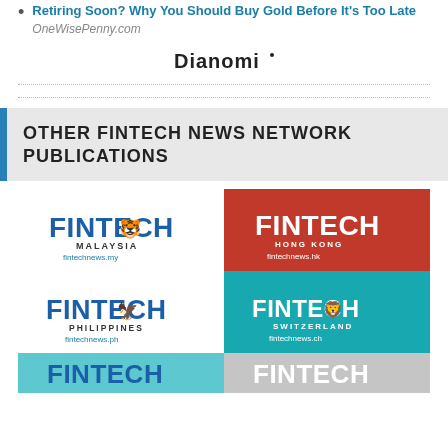Retiring Soon? Why You Should Buy Gold Before It's Too Late  OneWisePenny.com
[Figure (logo): Dianomi logo in dark bold text]
OTHER FINTECH NEWS NETWORK PUBLICATIONS
[Figure (logo): Fintech Malaysia logo - fintechnews.my]
[Figure (logo): Fintech Hong Kong logo on red background - fintechnews.hk]
[Figure (logo): Fintech Philippines logo - fintechnews.ph]
[Figure (logo): Fintech Switzerland logo on teal background - fintechnews.ch]
[Figure (logo): Fintech (partial) logo on teal background - bottom left]
[Figure (logo): Fintech (partial) logo on grey background - bottom right]